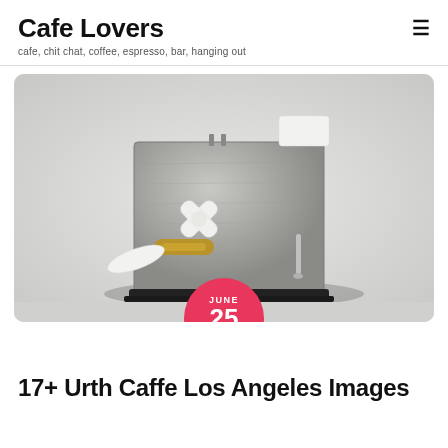Cafe Lovers
cafe, chit chat, coffee, espresso, bar, hanging out
[Figure (photo): A concrete espresso machine with white cross-shaped knob and brass portafilter holder on a black tray, photographed against a light gray background. A pink circular date badge overlaid reads JUNE 25 2021.]
17+ Urth Caffe Los Angeles Images